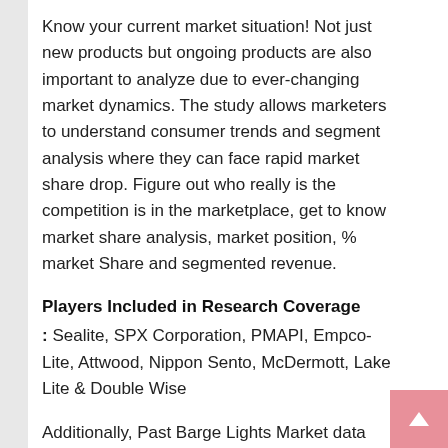Know your current market situation! Not just new products but ongoing products are also important to analyze due to ever-changing market dynamics. The study allows marketers to understand consumer trends and segment analysis where they can face rapid market share drop. Figure out who really is the competition is in the marketplace, get to know market share analysis, market position, % market Share and segmented revenue.
Players Included in Research Coverage
: Sealite, SPX Corporation, PMAPI, Empco-Lite, Attwood, Nippon Sento, McDermott, Lake Lite & Double Wise
Additionally, Past Barge Lights Market data